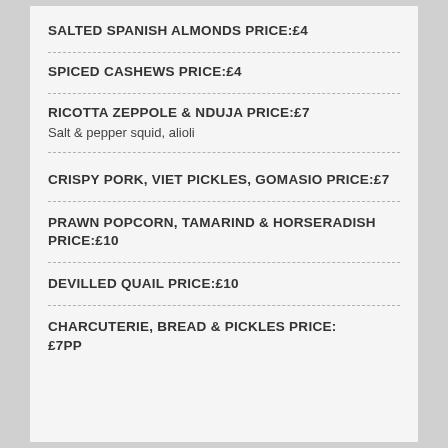SALTED SPANISH ALMONDS PRICE:£4
SPICED CASHEWS PRICE:£4
RICOTTA ZEPPOLE & NDUJA PRICE:£7
Salt & pepper squid, alioli
CRISPY PORK, VIET PICKLES, GOMASIO PRICE:£7
PRAWN POPCORN, TAMARIND & HORSERADISH PRICE:£10
DEVILLED QUAIL PRICE:£10
CHARCUTERIE, BREAD & PICKLES PRICE:£7PP